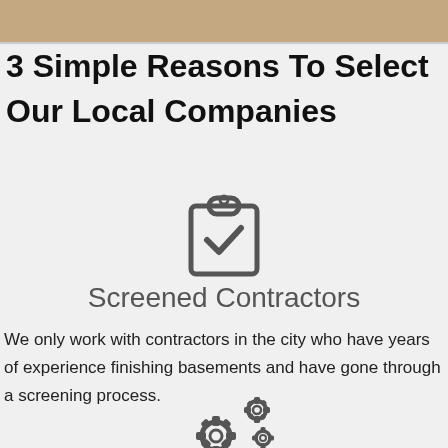[Figure (photo): Partial image of a room or basement with brown/tan tones visible at the top of the page]
3 Simple Reasons To Select Our Local Companies
[Figure (illustration): Clipboard with checkmark icon in dark gray]
Screened Contractors
We only work with contractors in the city who have years of experience finishing basements and have gone through a screening process.
[Figure (illustration): Gear/cog icons in dark gray representing settings or process]